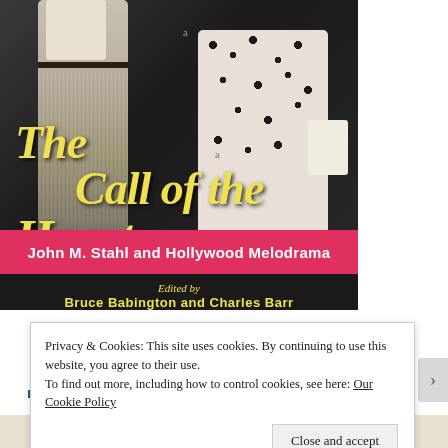[Figure (illustration): Book cover for 'The Call of the Heart: John M. Stahl and Hollywood Melodrama', edited by Bruce Babington and Charles Barr. Black and white photograph of a man and woman standing, overlaid with yellow italic script title text. A pink/red banner across the lower portion of the image contains the subtitle in bold white text. Editors' names appear in yellow below the banner on a dark background.]
Privacy & Cookies: This site uses cookies. By continuing to use this website, you agree to their use.
To find out more, including how to control cookies, see here: Our Cookie Policy
Close and accept